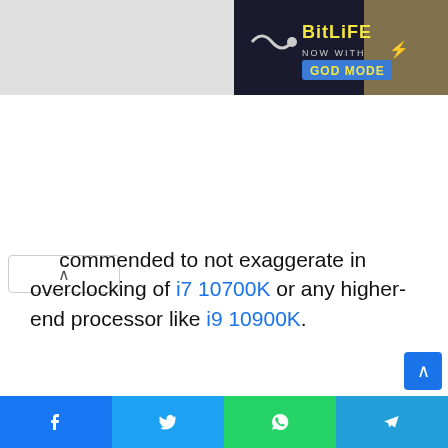[Figure (screenshot): BitLife advertisement banner with 'NOW WITH GOD MODE' text on dark background]
commended to not exaggerate in overclocking of i7 10700K or any higher-end processor like i9 10900K.
RAM support
[Figure (photo): Two Z490M motherboards side by side showing RAM slots, labeled Z490M Gaming]
[Figure (screenshot): Social share bar with Facebook, Twitter, WhatsApp, and Telegram buttons]